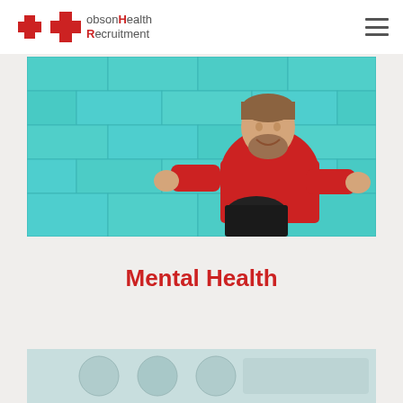Hobson Health Recruitment
[Figure (photo): A smiling man with a beard wearing a red sweater, sitting against a teal/turquoise brick wall background]
Mental Health
[Figure (photo): Partial view of a second image at the bottom of the page, appearing to show some objects on a light background]